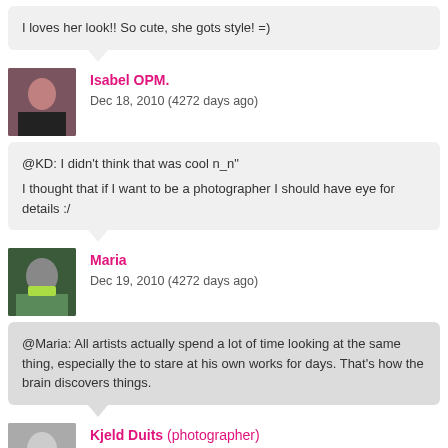I loves her look!! So cute, she gots style! =)
Isabel OPM.
Dec 18, 2010 (4272 days ago)
@KD: I didn’t think that was cool n_n"
I thought that if I want to be a photographer I should have eye for details :/
Maria
Dec 19, 2010 (4272 days ago)
@Maria: All artists actually spend a lot of time looking at the same thing, especially the to stare at his own works for days. That’s how the brain discovers things.
Kjeld Duits (photographer)
Dec 19, 2010 (4272 days ago)